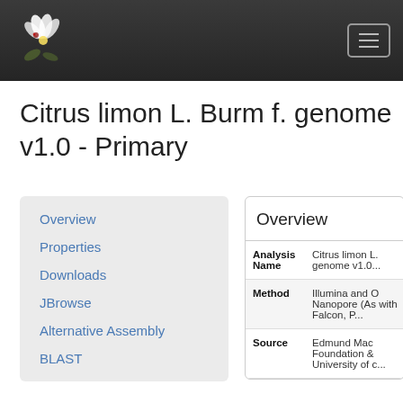Citrus limon L. Burm f. genome v1.0 - Primary [navigation header]
Citrus limon L. Burm f. genome v1.0 - Primary
Overview
Properties
Downloads
JBrowse
Alternative Assembly
BLAST
Overview
| Field | Value |
| --- | --- |
| Analysis Name | Citrus limon L. genome v1.0... |
| Method | Illumina and Oxford Nanopore (As... with Falcon, P... |
| Source | Edmund Mac... Foundation &... University of c... |